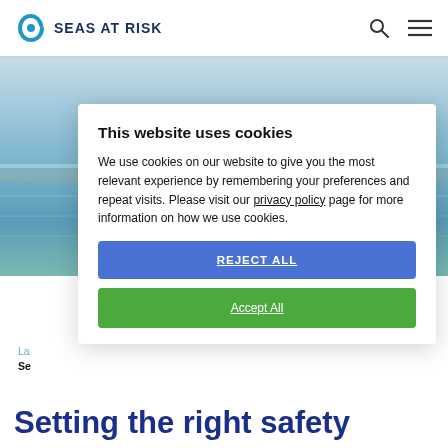SEAS AT RISK
[Figure (photo): Ocean/sea landscape background image with light blue sky and water]
This website uses cookies
We use cookies on our website to give you the most relevant experience by remembering your preferences and repeat visits. Please visit our privacy policy page for more information on how we use cookies.
REJECT ALL
Accept All
Setting the right safety